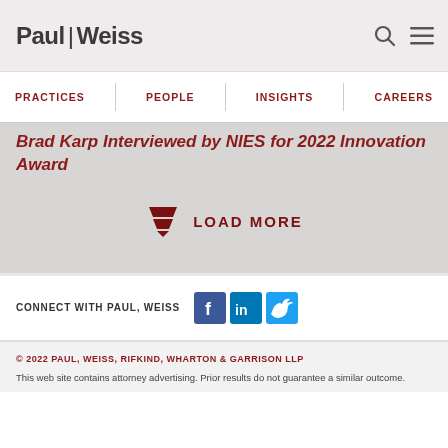Paul | Weiss
Brad Karp Interviewed by NIES for 2022 Innovation Award
[Figure (other): Load More button with downward-pointing stacked chevron icon in dark red]
CONNECT WITH PAUL, WEISS
[Figure (other): Social media icons: Facebook (blue), LinkedIn (blue), Twitter (blue)]
© 2022 PAUL, WEISS, RIFKIND, WHARTON & GARRISON LLP
This web site contains attorney advertising. Prior results do not guarantee a similar outcome.